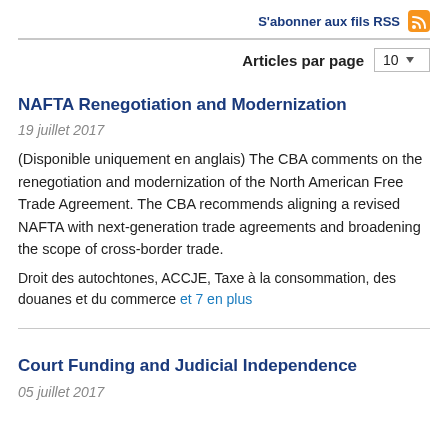S'abonner aux fils RSS
Articles par page  10
NAFTA Renegotiation and Modernization
19 juillet 2017
(Disponible uniquement en anglais) The CBA comments on the renegotiation and modernization of the North American Free Trade Agreement. The CBA recommends aligning a revised NAFTA with next-generation trade agreements and broadening the scope of cross-border trade.
Droit des autochtones, ACCJE, Taxe à la consommation, des douanes et du commerce et 7 en plus
Court Funding and Judicial Independence
05 juillet 2017